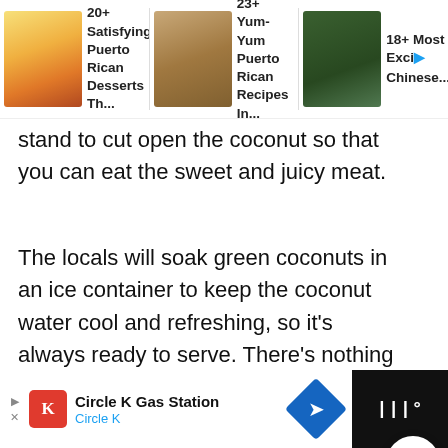[Figure (screenshot): Top navigation bar showing three article thumbnail links: '20+ Satisfying Puerto Rican Desserts Th...', '23+ Yum-Yum Puerto Rican Recipes In...', '18+ Most Exciti... Chinese...' with food/drink thumbnail images]
stand to cut open the coconut so that you can eat the sweet and juicy meat.
The locals will soak green coconuts in an ice container to keep the coconut water cool and refreshing, so it's always ready to serve. There's nothing better than the feeling of taking some sip from a coconut while enjoying the tropical breeze blowing through you.
[Figure (screenshot): UI overlay: scroll-up chevron button, 516 like count in cyan, heart/like button (white circle), cyan search button (circle)]
[Figure (screenshot): Bottom advertisement bar for Circle K Gas Station with Circle K logo, navigation arrow icon, and dark right panel with Waze-style icon]